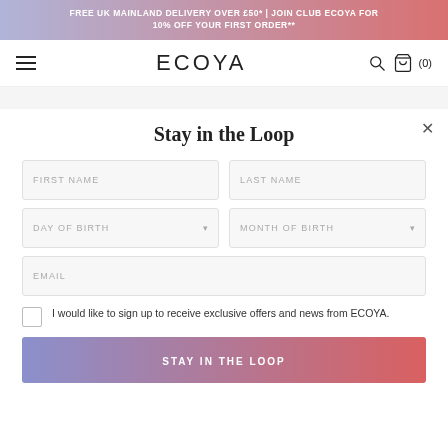FREE UK MAINLAND DELIVERY OVER £50* | JOIN CLUB ECOYA FOR 10% OFF YOUR FIRST ORDER**
[Figure (logo): ECOYA logo with hamburger menu, search icon, and shopping bag icon showing (0) items]
Stay in the Loop
FIRST NAME (form field)
LAST NAME (form field)
DAY OF BIRTH (dropdown)
MONTH OF BIRTH (dropdown)
EMAIL (form field)
I would like to sign up to receive exclusive offers and news from ECOYA.
STAY IN THE LOOP